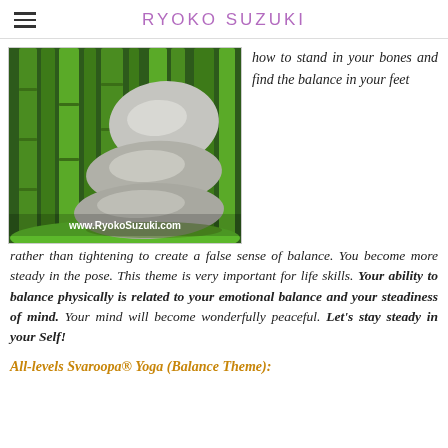RYOKO SUZUKI
[Figure (photo): Stacked zen stones/rocks on green moss with bamboo in the background. White text overlay reads: www.RyokoSuzuki.com]
how to stand in your bones and find the balance in your feet rather than tightening to create a false sense of balance. You become more steady in the pose. This theme is very important for life skills. Your ability to balance physically is related to your emotional balance and your steadiness of mind. Your mind will become wonderfully peaceful. Let's stay steady in your Self!
All-levels Svaroopa® Yoga (Balance Theme):